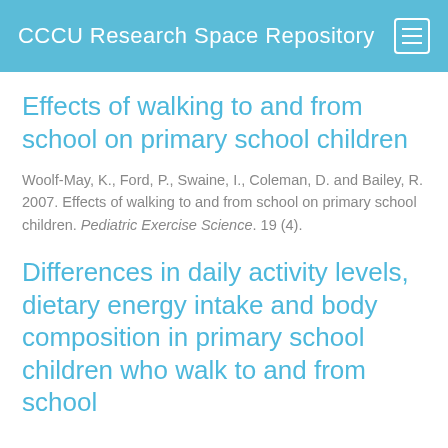CCCU Research Space Repository
Effects of walking to and from school on primary school children
Woolf-May, K., Ford, P., Swaine, I., Coleman, D. and Bailey, R. 2007. Effects of walking to and from school on primary school children. Pediatric Exercise Science. 19 (4).
Differences in daily activity levels, dietary energy intake and body composition in primary school children who walk to and from school